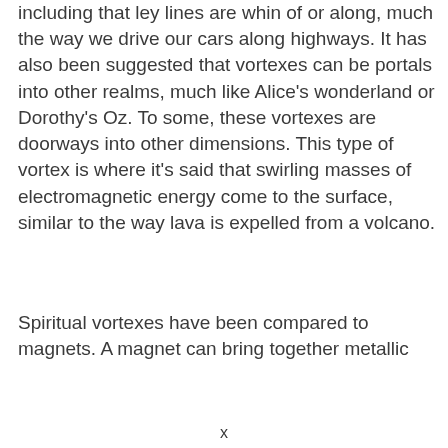including that ley lines are whin of or along, much the way we drive our cars along highways. It has also been suggested that vortexes can be portals into other realms, much like Alice's wonderland or Dorothy's Oz. To some, these vortexes are doorways into other dimensions. This type of vortex is where it's said that swirling masses of electromagnetic energy come to the surface, similar to the way lava is expelled from a volcano.
Spiritual vortexes have been compared to magnets. A magnet can bring together metallic
x